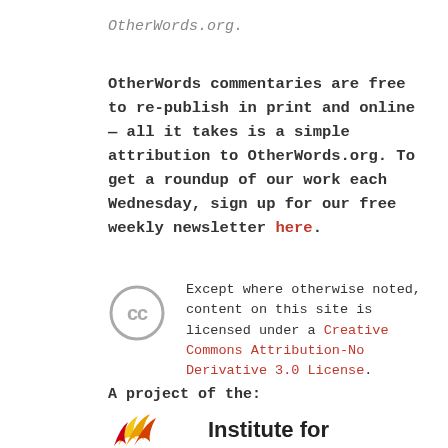OtherWords.org.
OtherWords commentaries are free to re-publish in print and online — all it takes is a simple attribution to OtherWords.org. To get a roundup of our work each Wednesday, sign up for our free weekly newsletter here.
Except where otherwise noted, content on this site is licensed under a Creative Commons Attribution-No Derivative 3.0 License.
A project of the:
[Figure (logo): Institute for Policy Studies logo - stylized flame/wing shape in yellow, orange, and red]